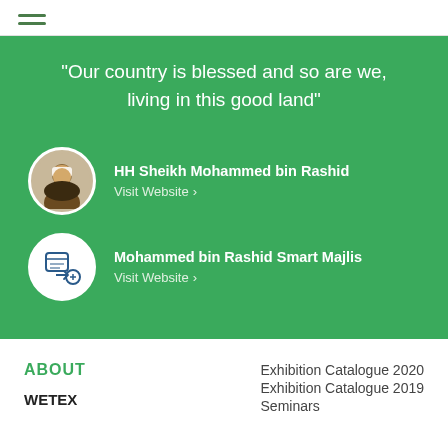“Our country is blessed and so are we, living in this good land”
HH Sheikh Mohammed bin Rashid
Visit Website
Mohammed bin Rashid Smart Majlis
Visit Website
ABOUT
WETEX
Exhibition Catalogue 2020
Exhibition Catalogue 2019
Seminars